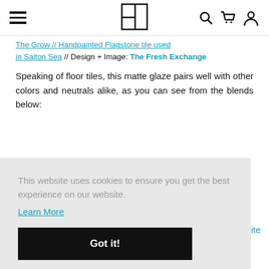Navigation bar with hamburger menu, logo, search, cart, and account icons
The Grow // Handpainted Flagstone tile used in Salton Sea // Design + Image: The Fresh Exchange
Speaking of floor tiles, this matte glaze pairs well with other colors and neutrals alike, as you can see from the blends below:
This website uses cookies to ensure you get the best experience on our website. Learn More
Got it!
etite